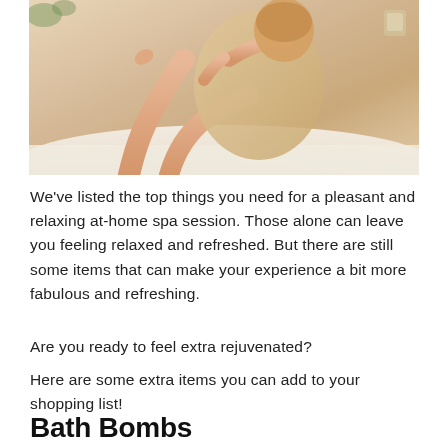[Figure (photo): Woman wrapped in towel sitting on bed, applying lotion to her legs — spa/self-care theme]
We've listed the top things you need for a pleasant and relaxing at-home spa session. Those alone can leave you feeling relaxed and refreshed. But there are still some items that can make your experience a bit more fabulous and refreshing.
Are you ready to feel extra rejuvenated?
Here are some extra items you can add to your shopping list!
Bath Bombs